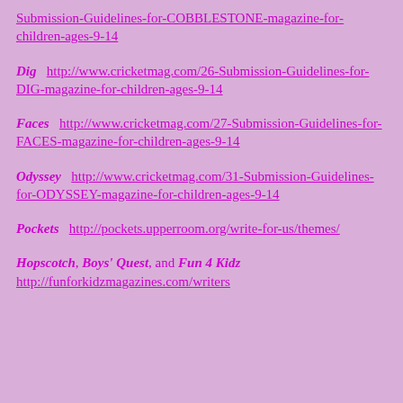Submission-Guidelines-for-COBBLESTONE-magazine-for-children-ages-9-14
Dig   http://www.cricketmag.com/26-Submission-Guidelines-for-DIG-magazine-for-children-ages-9-14
Faces   http://www.cricketmag.com/27-Submission-Guidelines-for-FACES-magazine-for-children-ages-9-14
Odyssey   http://www.cricketmag.com/31-Submission-Guidelines-for-ODYSSEY-magazine-for-children-ages-9-14
Pockets   http://pockets.upperroom.org/write-for-us/themes/
Hopscotch, Boys' Quest, and Fun 4 Kidz  http://funforkidzmagazines.com/writers